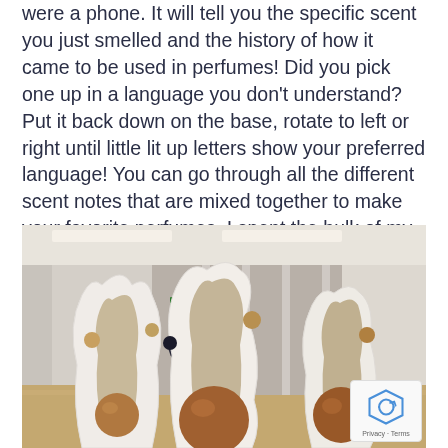were a phone. It will tell you the specific scent you just smelled and the history of how it came to be used in perfumes! Did you pick one up in a language you don't understand? Put it back down on the base, rotate to left or right until little lit up letters show your preferred language! You can go through all the different scent notes that are mixed together to make your favorite perfumes. I spent the bulk of my visit here!
[Figure (photo): Interior museum or gallery space with large white sculptural perfume-bottle-shaped display stands holding bronze/gold spherical balls, with visitors visible in the background corridor.]